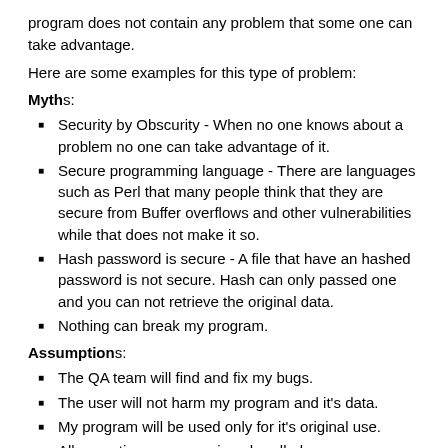program does not contain any problem that some one can take advantage.
Here are some examples for this type of problem:
Myths:
Security by Obscurity - When no one knows about a problem no one can take advantage of it.
Secure programming language - There are languages such as Perl that many people think that they are secure from Buffer overflows and other vulnerabilities while that does not make it so.
Hash password is secure - A file that have an hashed password is not secure. Hash can only passed one and you can not retrieve the original data.
Nothing can break my program.
Assumptions:
The QA team will find and fix my bugs.
The user will not harm my program and it's data.
My program will be used only for it's original use.
All exceptions can remain unhandled.
Explanation
Now after we know some problems we can encounter when developing programs, we should learn how to fix this problems. All of the problems we